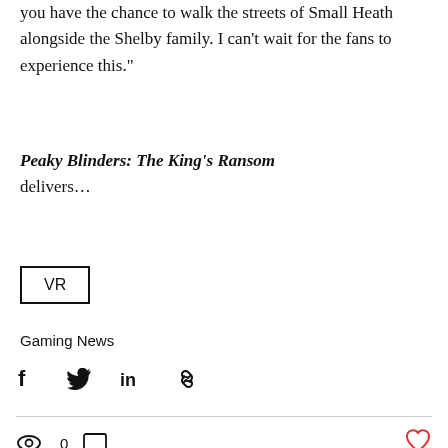you have the chance to walk the streets of Small Heath alongside the Shelby family. I can’t wait for the fans to experience this.”
Peaky Blinders: The King’s Ransom delivers…
VR
Gaming News